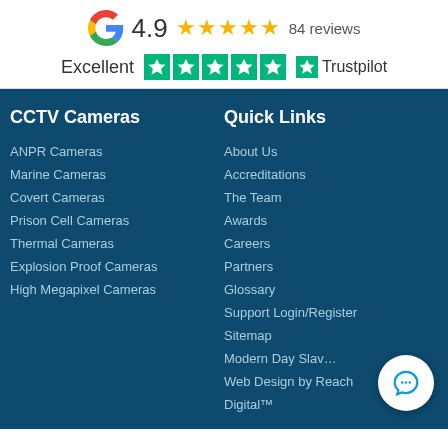[Figure (logo): Google logo with 4.9 rating, 5 gold stars, and 84 reviews]
[Figure (logo): Trustpilot rating showing Excellent with 5 green stars and Trustpilot logo]
CCTV Cameras
ANPR Cameras
Marine Cameras
Covert Cameras
Prison Cell Cameras
Thermal Cameras
Explosion Proof Cameras
High Megapixel Cameras
Quick Links
About Us
Accreditations
The Team
Awards
Careers
Partners
Glossary
Support Login/Register
Sitemap
Modern Day Slav...
Web Design by Reach
Digital™